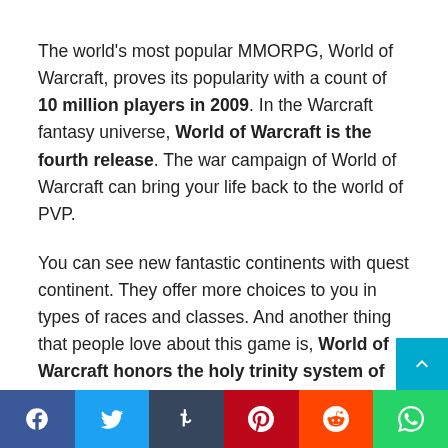The world's most popular MMORPG, World of Warcraft, proves its popularity with a count of 10 million players in 2009. In the Warcraft fantasy universe, World of Warcraft is the fourth release. The war campaign of World of Warcraft can bring your life back to the world of PVP.
You can see new fantastic continents with quest continent. They offer more choices to you in types of races and classes. And another thing that people love about this game is, World of Warcraft honors the holy trinity system of games.
This game is not a free one. If you need to play World of Warcraft, you have to set up a